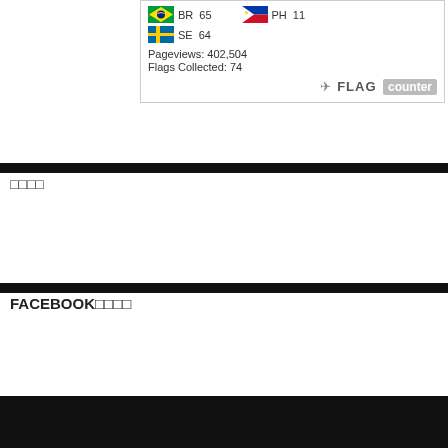[Figure (other): Flag counter widget showing country flags (BR, SE, PH) with visit counts, pageviews 402,504, flags collected 74, and FLAG counter logo]
□□□□
FACEBOOK□□□□